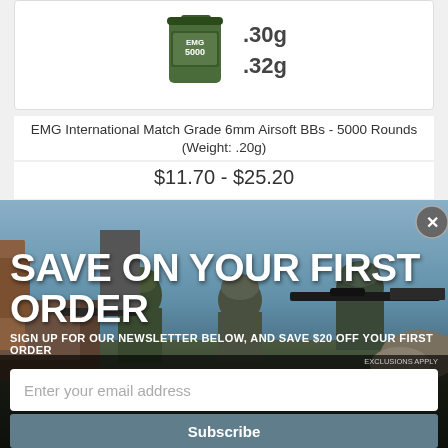[Figure (photo): EMG BB can product image with weight labels .30g and .32g]
EMG International Match Grade 6mm Airsoft BBs - 5000 Rounds (Weight: .20g)
$11.70 - $25.20
[Figure (photo): Partial second product card showing two product images]
[Figure (photo): Modal overlay with soldiers in military gear aiming rifles, promotional popup]
SAVE ON YOUR FIRST ORDER
SIGN UP FOR OUR NEWSLETTER BELOW, AND SAVE $20 OFF YOUR FIRST ORDER
EXCLUSIONS APPLY
Enter your email address
Subscribe